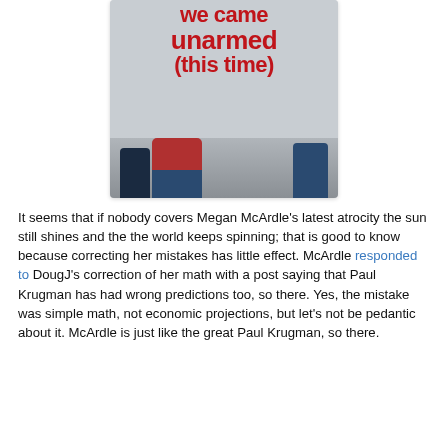[Figure (photo): A cropped photo showing people holding a protest sign that reads 'We came unarmed (this time)' in large bold red text on a light grey/white sign background. The lower portion shows the torsos and legs of people holding the sign, wearing jeans and a red jacket.]
It seems that if nobody covers Megan McArdle's latest atrocity the sun still shines and the the world keeps spinning; that is good to know because correcting her mistakes has little effect. McArdle responded to DougJ's correction of her math with a post saying that Paul Krugman has had wrong predictions too, so there. Yes, the mistake was simple math, not economic projections, but let's not be pedantic about it. McArdle is just like the great Paul Krugman, so there.